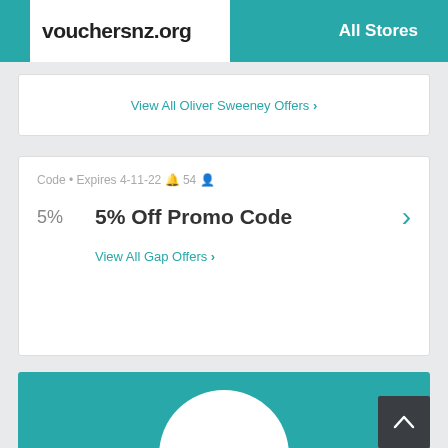vouchersnz.org | All Stores
View All Oliver Sweeney Offers >
Code • Expires 4-11-22 🔔 54 👤
5%  5% Off Promo Code >
View All Gap Offers >
[Figure (logo): ST JOHN brand logo in a white circle on teal background]